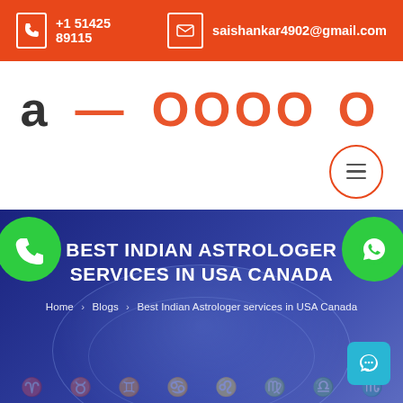+1 51425 89115 | saishankar4902@gmail.com
[Figure (logo): Partially visible orange logo text in the white header area]
BEST INDIAN ASTROLOGER SERVICES IN USA CANADA
Home › Blogs › Best Indian Astrologer services in USA Canada